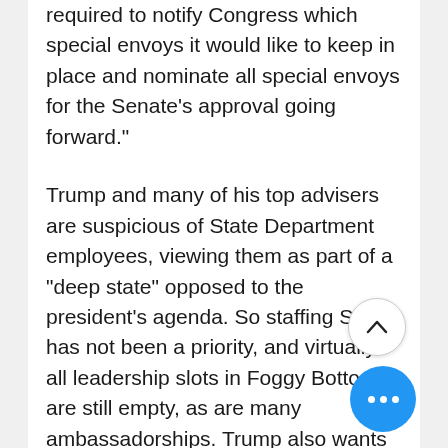required to notify Congress which special envoys it would like to keep in place and nominate all special envoys for the Senate's approval going forward."
Trump and many of his top advisers are suspicious of State Department employees, viewing them as part of a "deep state" opposed to the president's agenda. So staffing State has not been a priority, and virtually all leadership slots in Foggy Bottom are still empty, as are many ambassadorships. Trump also wants to slash State's budget one-third, meaning Tillerson's restructuring will likely include major cuts to many divisions.